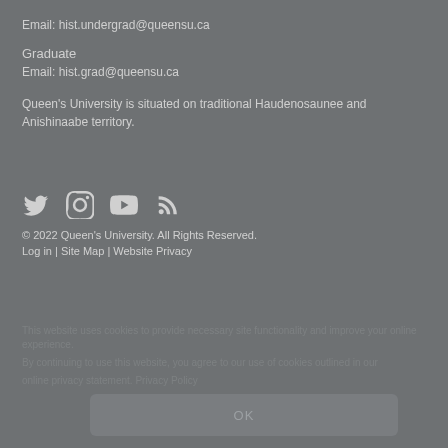Email: hist.undergrad@queensu.ca
Graduate
Email: hist.grad@queensu.ca
Queen's University is situated on traditional Haudenosaunee and Anishinaabe territory.
[Figure (other): Social media icons: Twitter, Instagram, YouTube, RSS/Blog]
© 2022 Queen's University. All Rights Reserved.
Log in  |  Site Map  |  Website Privacy